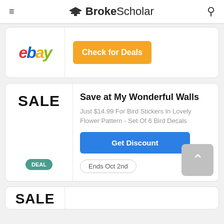BrokeScholar
[Figure (logo): eBay logo with colored letters]
Check for Deals
SALE
Save at My Wonderful Walls
Just $14.99 For Bird Stickers In Lovely Flower Pattern - Set Of 6 Bird Decals
Get Discount
Ends Oct 2nd
DEAL
SALE